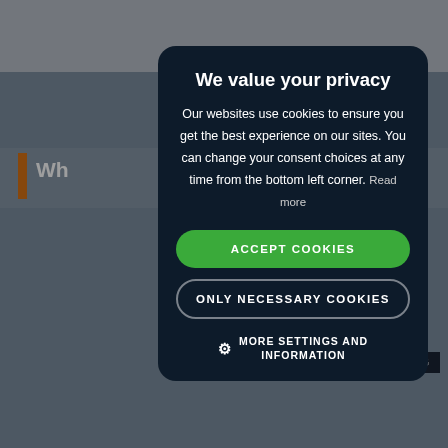[Figure (screenshot): Background webpage content showing a blog article page with orange accent bar, article heading starting with 'Wh...', a BLOG tag, a date block showing '28 JAN 2021', a cookie icon, and partial text 'Amy... bestselling, award-winning author and a professor of strategic foresight at the NYU Stern School of...']
We value your privacy
Our websites use cookies to ensure you get the best experience on our sites. You can change your consent choices at any time from the bottom left corner. Read more
ACCEPT COOKIES
ONLY NECESSARY COOKIES
MORE SETTINGS AND INFORMATION